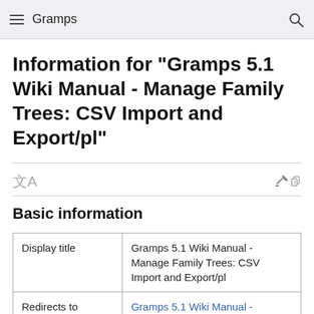Gramps
Information for "Gramps 5.1 Wiki Manual - Manage Family Trees: CSV Import and Export/pl"
Basic information
| Display title | Gramps 5.1 Wiki Manual - Manage Family Trees: CSV Import and Export/pl |
| Redirects to | Gramps 5.1 Wiki Manual - Manage Family Trees: CSV Import and Export |